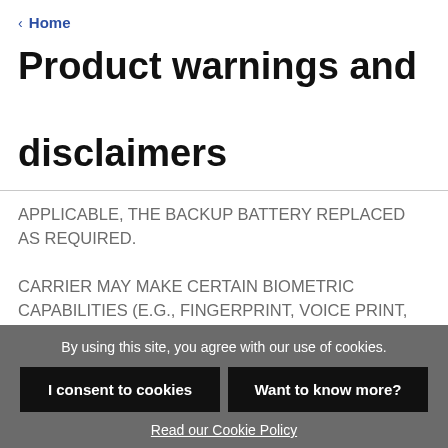< Home
Product warnings and disclaimers
APPLICABLE, THE BACKUP BATTERY REPLACED AS REQUIRED.
CARRIER MAY MAKE CERTAIN BIOMETRIC CAPABILITIES (E.G., FINGERPRINT, VOICE PRINT, FACIAL RECOGNITION, ETC.) AND/OR DATA RECORDING CAPABILITIES (E.G., VOICE RECORDING), AND/OR DATA/INFORMATION
By using this site, you agree with our use of cookies.
I consent to cookies
Want to know more?
Read our Cookie Policy